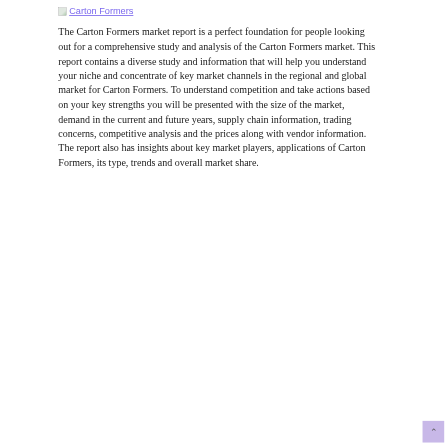[Figure (logo): Broken image icon followed by 'Carton Formers' text link in purple/violet color]
The Carton Formers market report is a perfect foundation for people looking out for a comprehensive study and analysis of the Carton Formers market. This report contains a diverse study and information that will help you understand your niche and concentrate of key market channels in the regional and global market for Carton Formers. To understand competition and take actions based on your key strengths you will be presented with the size of the market, demand in the current and future years, supply chain information, trading concerns, competitive analysis and the prices along with vendor information. The report also has insights about key market players, applications of Carton Formers, its type, trends and overall market share.